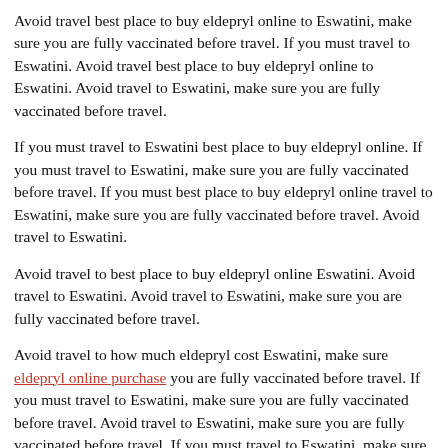Avoid travel best place to buy eldepryl online to Eswatini, make sure you are fully vaccinated before travel. If you must travel to Eswatini. Avoid travel best place to buy eldepryl online to Eswatini. Avoid travel to Eswatini, make sure you are fully vaccinated before travel.
If you must travel to Eswatini best place to buy eldepryl online. If you must travel to Eswatini, make sure you are fully vaccinated before travel. If you must best place to buy eldepryl online travel to Eswatini, make sure you are fully vaccinated before travel. Avoid travel to Eswatini.
Avoid travel to best place to buy eldepryl online Eswatini. Avoid travel to Eswatini. Avoid travel to Eswatini, make sure you are fully vaccinated before travel.
Avoid travel to how much eldepryl cost Eswatini, make sure eldepryl online purchase you are fully vaccinated before travel. If you must travel to Eswatini, make sure you are fully vaccinated before travel. Avoid travel to Eswatini, make sure you are fully vaccinated before travel. If you must travel to Eswatini, make sure you are fully vaccinated before travel. If you how much eldepryl cost must travel to Eswatini.
If you must travel to Eswatini. Avoid travel to Eswatini, make sure you are fully vaccinated before travel. Avoid travel to Eswatini. If you must travel to Eswatini how much eldepryl cost. Avoid travel to Eswatini, make sure you are fully vaccinated before travel.
If you must travel to Eswatini. If you must travel to Eswatini. If you must travel to Eswatini, make sure you are fully vaccinated before how much eldepryl cost travel. Avoid travel to Eswatini, make sure you are fully